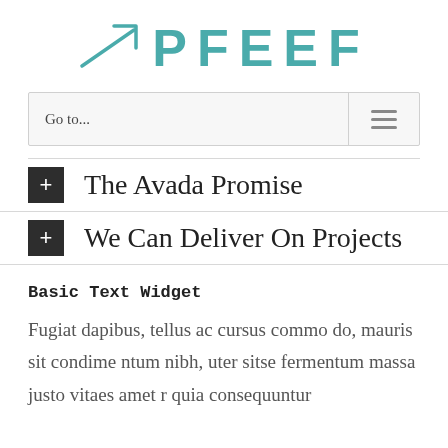[Figure (logo): PFEEF logo with upward-trending arrow icon in teal color followed by bold teal text PFEEF]
Go to...
The Avada Promise
We Can Deliver On Projects
Basic Text Widget
Fugiat dapibus, tellus ac cursus commo do, mauris sit condime ntum nibh, uter sitse fermentum massa justo vitaes amet r quia consequuntur